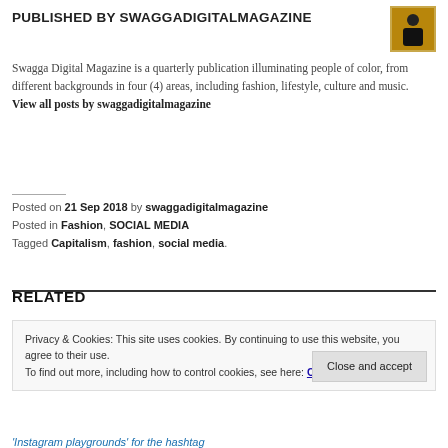PUBLISHED BY SWAGGADIGITALMAGAZINE
Swagga Digital Magazine is a quarterly publication illuminating people of color, from different backgrounds in four (4) areas, including fashion, lifestyle, culture and music. View all posts by swaggadigitalmagazine
Posted on 21 Sep 2018 by swaggadigitalmagazine
Posted in Fashion, SOCIAL MEDIA
Tagged Capitalism, fashion, social media.
RELATED
Privacy & Cookies: This site uses cookies. By continuing to use this website, you agree to their use.
To find out more, including how to control cookies, see here: Cookie Policy
'Instagram playgrounds' for the hashtag